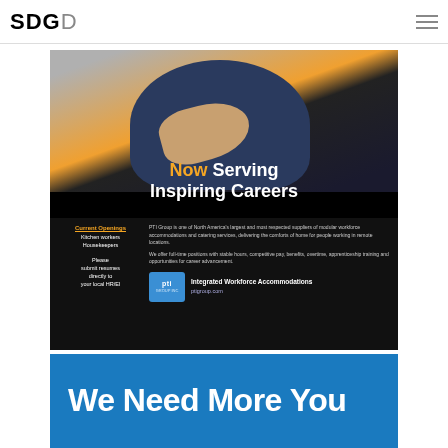SDGD
[Figure (photo): PTI Group recruitment advertisement featuring a healthcare/hospitality worker and text: 'Now Serving Inspiring Careers'. Current Openings: Kitchen workers, Housekeepers. PTI Group Inc - Integrated Workforce Accommodations. ptigroup.com]
[Figure (photo): Blue recruitment banner with white bold text: 'We Need More You']